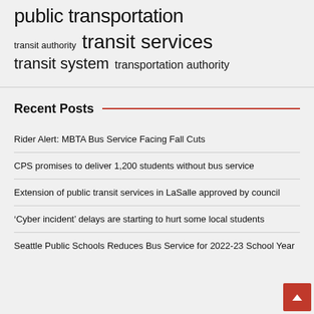public transportation
transit authority   transit services
transit system   transportation authority
Recent Posts
Rider Alert: MBTA Bus Service Facing Fall Cuts
CPS promises to deliver 1,200 students without bus service
Extension of public transit services in LaSalle approved by council
‘Cyber incident’ delays are starting to hurt some local students
Seattle Public Schools Reduces Bus Service for 2022-23 School Year